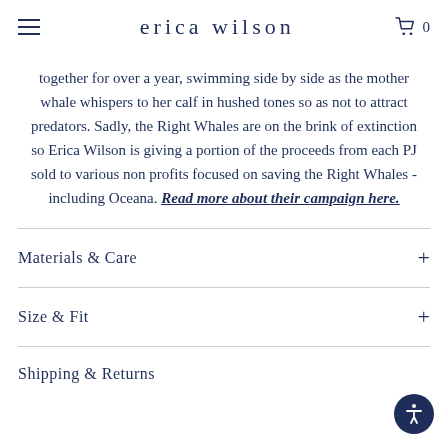erica wilson
together for over a year, swimming side by side as the mother whale whispers to her calf in hushed tones so as not to attract predators. Sadly, the Right Whales are on the brink of extinction so Erica Wilson is giving a portion of the proceeds from each PJ sold to various non profits focused on saving the Right Whales - including Oceana. Read more about their campaign here.
Materials & Care
Size & Fit
Shipping & Returns